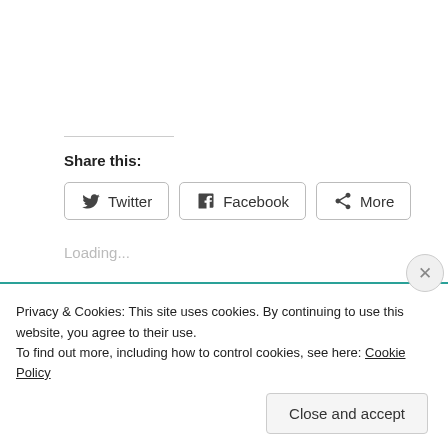Share this:
[Figure (other): Social sharing buttons: Twitter, Facebook, More]
Loading...
Related
NiftyNotCool: A Whine and
Lest We Forget to
Privacy & Cookies: This site uses cookies. By continuing to use this website, you agree to their use.
To find out more, including how to control cookies, see here: Cookie Policy
Close and accept